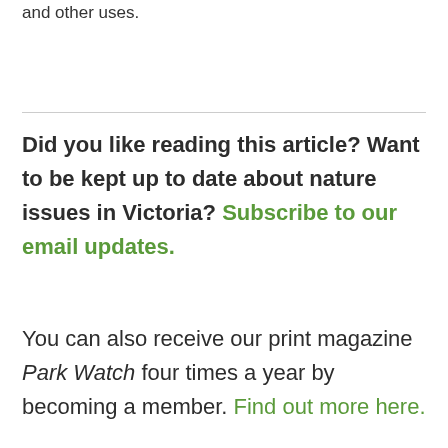and other uses.
Did you like reading this article? Want to be kept up to date about nature issues in Victoria? Subscribe to our email updates.
You can also receive our print magazine Park Watch four times a year by becoming a member. Find out more here.